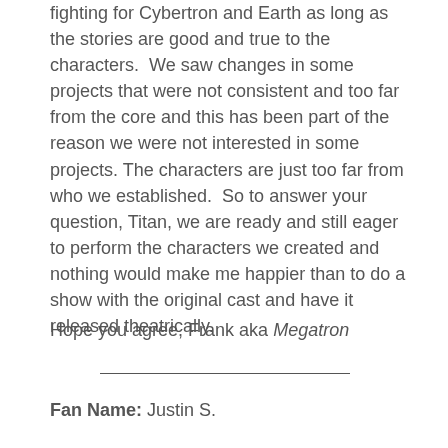fighting for Cybertron and Earth as long as the stories are good and true to the characters.  We saw changes in some projects that were not consistent and too far from the core and this has been part of the reason we were not interested in some projects. The characters are just too far from who we established.  So to answer your question, Titan, we are ready and still eager to perform the characters we created and nothing would make me happier than to do a show with the original cast and have it released theatrically.
Hope you agree, Frank aka Megatron
Fan Name: Justin S.